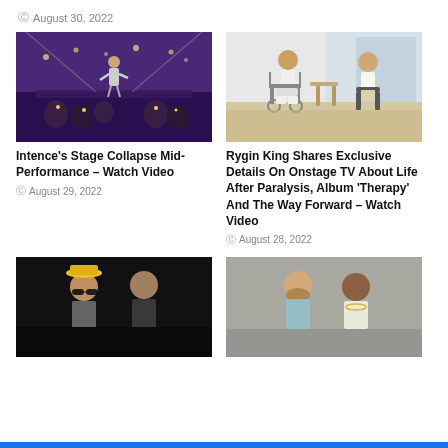August 30, 2022
[Figure (photo): Person performing on stage with lights and crowd below]
Intence's Stage Collapse Mid-Performance – Watch Video
August 29, 2022
[Figure (photo): Two men seated in a room, one in a wheelchair, appearing to be in an interview setting]
Rygin King Shares Exclusive Details On Onstage TV About Life After Paralysis, Album 'Therapy' And The Way Forward – Watch Video
August 28, 2022
[Figure (photo): Two men posing together, one wearing a yellow hat and sunglasses]
[Figure (photo): Two men posing together, one in a light blue shirt]